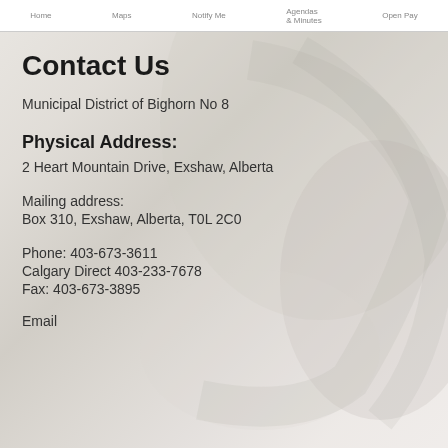Home   Maps   Notify Me   Agendas & Minutes   Open Pay
Contact Us
Municipal District of Bighorn No 8
Physical Address:
2 Heart Mountain Drive, Exshaw, Alberta
Mailing address:
Box 310, Exshaw, Alberta, T0L 2C0
Phone: 403-673-3611
Calgary Direct 403-233-7678
Fax: 403-673-3895
Email